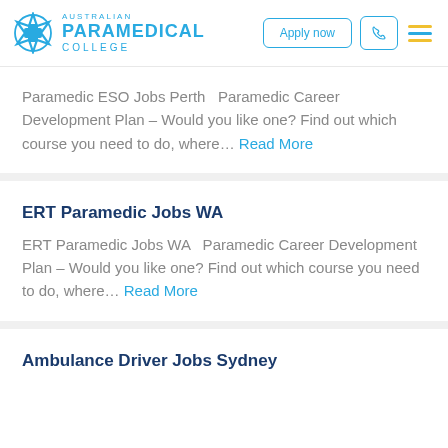Australian Paramedical College
Paramedic ESO Jobs Perth  Paramedic Career Development Plan – Would you like one? Find out which course you need to do, where… Read More
ERT Paramedic Jobs WA
ERT Paramedic Jobs WA  Paramedic Career Development Plan – Would you like one? Find out which course you need to do, where… Read More
Ambulance Driver Jobs Sydney